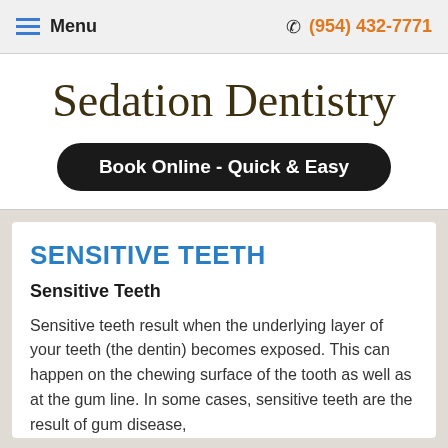Menu   (954) 432-7771
Sedation Dentistry
Book Online - Quick & Easy
SENSITIVE TEETH
Sensitive Teeth
Sensitive teeth result when the underlying layer of your teeth (the dentin) becomes exposed. This can happen on the chewing surface of the tooth as well as at the gum line. In some cases, sensitive teeth are the result of gum disease,